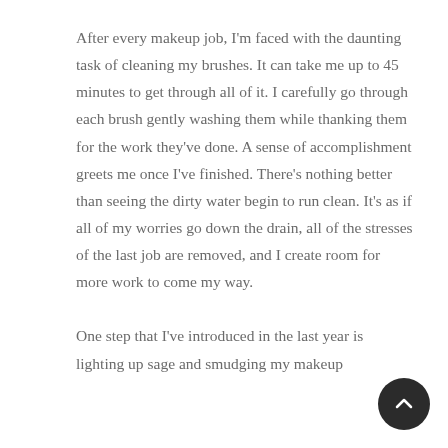After every makeup job, I'm faced with the daunting task of cleaning my brushes. It can take me up to 45 minutes to get through all of it. I carefully go through each brush gently washing them while thanking them for the work they've done. A sense of accomplishment greets me once I've finished. There's nothing better than seeing the dirty water begin to run clean. It's as if all of my worries go down the drain, all of the stresses of the last job are removed, and I create room for more work to come my way.
One step that I've introduced in the last year is lighting up sage and smudging my makeup